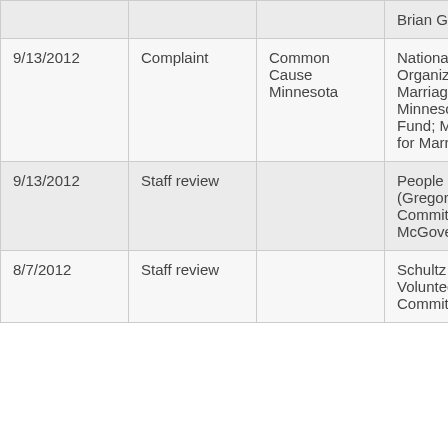| Date | Type | Complainant | Respondent |
| --- | --- | --- | --- |
|  |  |  | Brian Gruber |
| 9/13/2012 | Complaint | Common Cause Minnesota | National Organization for Marriage; NOM Minnesota Marriage Fund; Minnesota for Marriage |
| 9/13/2012 | Staff review |  | People for (Gregory) Da Committee; Michael McGovern |
| 8/7/2012 | Staff review |  | Schultz (John) Volunteer Committee |